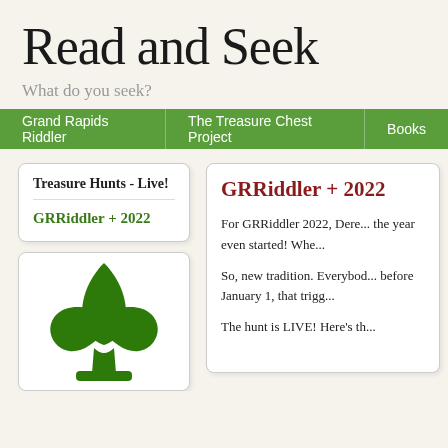Read and Seek
What do you seek?
Grand Rapids Riddler | The Treasure Chest Project | Books
Treasure Hunts - Live!
GRRiddler + 2022
[Figure (illustration): Green fleur-de-lis / leaf logo illustration on white background]
GRRiddler + 2022
For GRRiddler 2022, Dere... the year even started! Whe...
So, new tradition. Everybod... before January 1, that trigg...
The hunt is LIVE! Here's th...